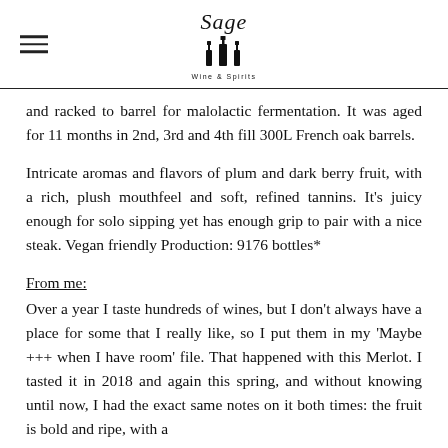Sage Wine & Spirits
and racked to barrel for malolactic fermentation. It was aged for 11 months in 2nd, 3rd and 4th fill 300L French oak barrels.
Intricate aromas and flavors of plum and dark berry fruit, with a rich, plush mouthfeel and soft, refined tannins. It's juicy enough for solo sipping yet has enough grip to pair with a nice steak. Vegan friendly Production: 9176 bottles*
From me:
Over a year I taste hundreds of wines, but I don't always have a place for some that I really like, so I put them in my 'Maybe +++ when I have room' file. That happened with this Merlot. I tasted it in 2018 and again this spring, and without knowing until now, I had the exact same notes on it both times: the fruit is bold and ripe, with a